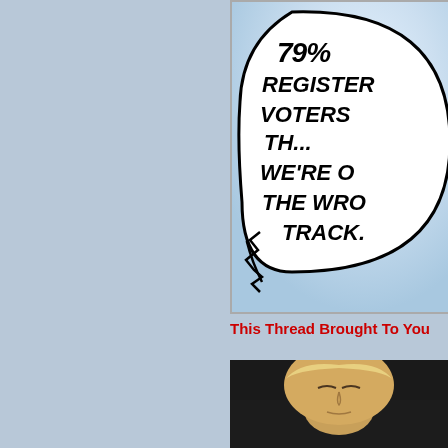[Figure (illustration): Political cartoon showing a speech bubble with bold italic hand-lettered text reading '79% OF REGISTERED VOTERS THINK WE'RE ON THE WRONG TRACK.' with a jagged speech bubble outline against a light blue sky background. Only the right portion of the cartoon is visible.]
This Thread Brought To You
[Figure (photo): Partial photo of a man's face (appearing to be Donald Trump) with blonde/white hair, eyes closed or downcast, against a dark background.]